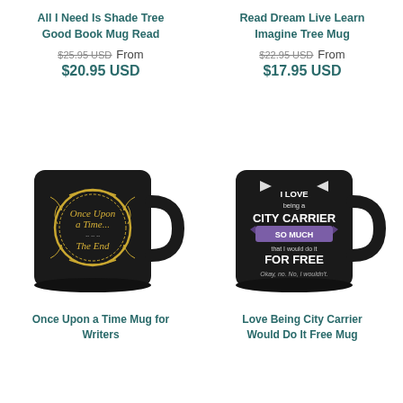All I Need Is Shade Tree Good Book Mug Read
$25.95 USD  From $20.95 USD
Read Dream Live Learn Imagine Tree Mug
$22.95 USD  From $17.95 USD
[Figure (photo): Black coffee mug with gold ornate circular frame containing cursive text 'Once Upon a Time... The End']
[Figure (photo): Black coffee mug with text 'I LOVE being a CITY CARRIER SO MUCH that I would do it FOR FREE Okay, no. No, I wouldn't.']
Once Upon a Time Mug for Writers
Love Being City Carrier Would Do It Free Mug